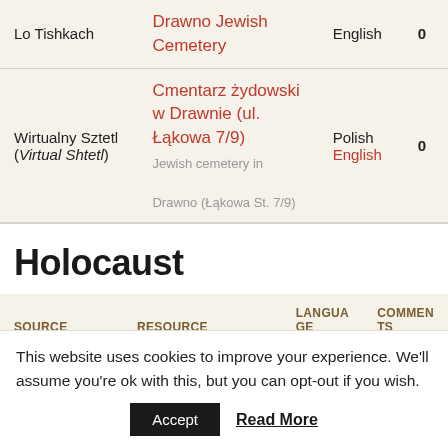| SOURCE | RESOURCE | LANGUAGE | COMMENTS |
| --- | --- | --- | --- |
| Lo Tishkach | Drawno Jewish Cemetery | English | 0 |
| Wirtualny Sztetl (Virtual Shtetl) | Cmentarz żydowski w Drawnie (ul. Łąkowa 7/9) — Jewish cemetery in Drawno (Łąkowa St. 7/9) | Polish
English | 0 |
Holocaust
| SOURCE | RESOURCE | LANGUAGE | COMMENTS |
| --- | --- | --- | --- |
This website uses cookies to improve your experience. We'll assume you're ok with this, but you can opt-out if you wish.